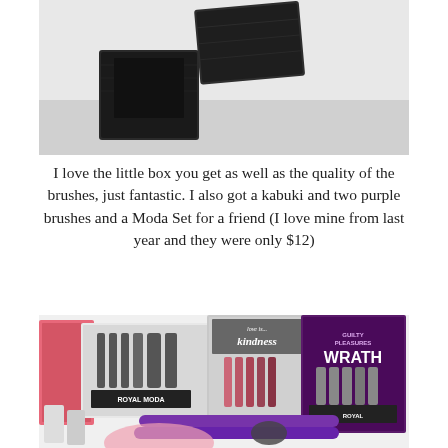[Figure (photo): Black makeup brush box with lid open, photographed on white background]
I love the little box you get as well as the quality of the brushes, just fantastic. I also got a kabuki and two purple brushes and a Moda Set for a friend (I love mine from last year and they were only $12)
[Figure (photo): Assorted Royal makeup brush sets including Moda set, love is kindness brushes, Guilty Pleasures Wrath brushes, purple eye brushes, nail polishes and a pink powder puff arranged on white surface]